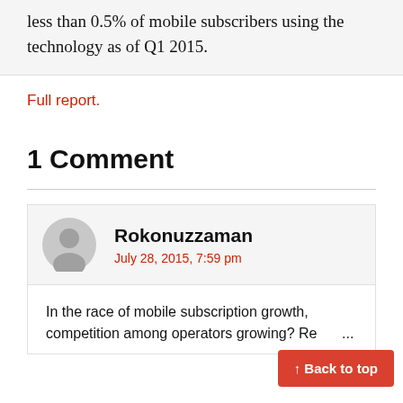less than 0.5% of mobile subscribers using the technology as of Q1 2015.
Full report.
1 Comment
Rokonuzzaman
July 28, 2015, 7:59 pm
In the race of mobile subscription growth, competition among operators growing? Refe...